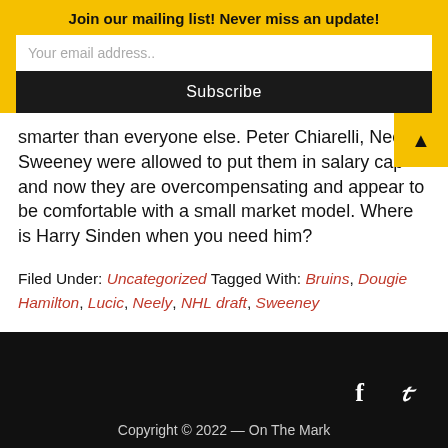Join our mailing list! Never miss an update!
Your email address..
Subscribe
smarter than everyone else. Peter Chiarelli, Neely Sweeney were allowed to put them in salary cap and now they are overcompensating and appear to be comfortable with a small market model. Where is Harry Sinden when you need him?
Filed Under: Uncategorized Tagged With: Bruins, Dougie Hamilton, Lucic, Neely, NHL draft, Sweeney
Copyright © 2022 — On The Mark